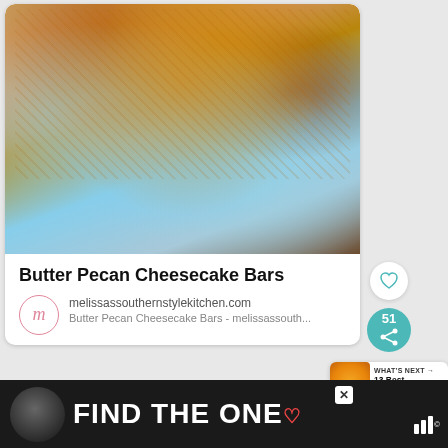[Figure (photo): Plate of Butter Pecan Cheesecake Bars stacked on a light blue plate, showing golden caramel topping with chopped pecans]
Butter Pecan Cheesecake Bars
melissassouthernstylekitchen.com
Butter Pecan Cheesecake Bars - melissassouth...
WHAT'S NEXT → 13 Best Pureed Sou...
FIND THE ONE